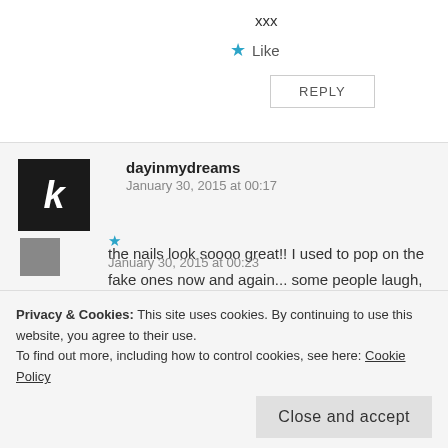xxx
★ Like
REPLY
dayinmydreams
January 30, 2015 at 00:17
the nails look soooo great!! I used to pop on the fake ones now and again... some people laugh, but they actually look great on! more people need to give them a try
http://dayinmydreams.com/
January 30, 2015 at 00:23
Privacy & Cookies: This site uses cookies. By continuing to use this website, you agree to their use.
To find out more, including how to control cookies, see here: Cookie Policy
Close and accept